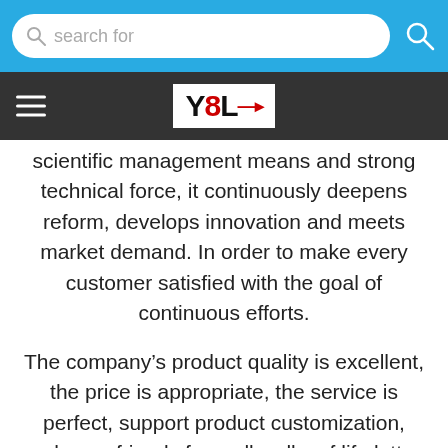search for
[Figure (logo): YOL brand logo in black and red on white background inside dark navigation bar]
scientific management means and strong technical force, it continuously deepens reform, develops innovation and meets market demand. In order to make every customer satisfied with the goal of continuous efforts.
The company's product quality is excellent, the price is appropriate, the service is perfect, support product customization, welcome friends from all walks of life letter calls and